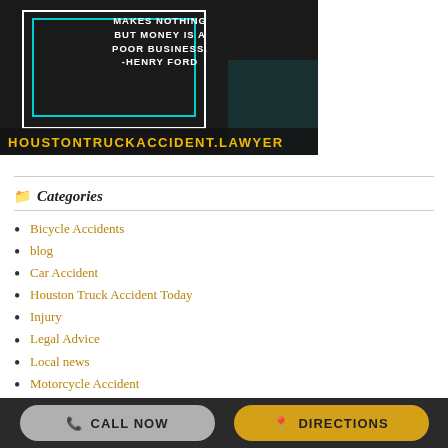[Figure (photo): Dark background image with a quoted text overlay reading 'MAKES NOTHING BUT MONEY IS A POOR BUSINESS. -HENRY FORD' in white uppercase letters with decorative white and teal border boxes. Below the image is a yellow/gold text banner reading 'HOUSTONTRUCKACCIDENT.LAWYER']
Categories
Bicycle Accidents
blog
Car Accident
Houston Truck Accident Today
Injury
Legal Advice
Local news
Motorcycle Accident
National News
News